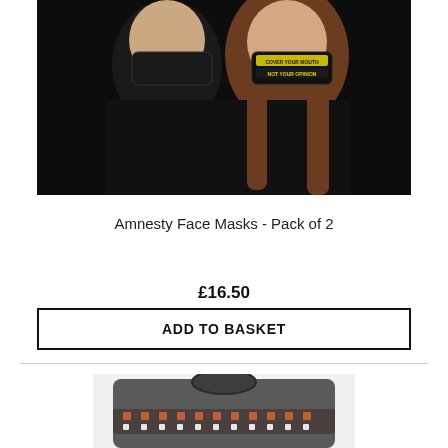[Figure (photo): Two people wearing black face masks. The woman's mask reads 'COVER YOUR MOUTH NOT YOUR OPINION' with yellow accent text. Both are wearing black clothing.]
Amnesty Face Masks - Pack of 2
£16.50
ADD TO BASKET
[Figure (photo): Partial view of a grey knitted sweater/jumper with a fair isle or Nordic pattern in orange, white and dark colours around the chest area.]